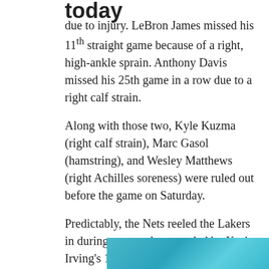today
due to injury. LeBron James missed his 11th straight game because of a right, high-ankle sprain. Anthony Davis missed his 25th game in a row due to a right calf strain.
Along with those two, Kyle Kuzma (right calf strain), Marc Gasol (hamstring), and Wesley Matthews (right Achilles soreness) were ruled out before the game on Saturday.
Predictably, the Nets reeled the Lakers in during a second quarter led by Kyrie Irving's 18 points in the first half. They grabbed a four-point lead with just over three minutes left. However, the Lakers closed out strong and took a 61-58 lead into half time.
[Figure (photo): Teal/blue colored photo at the bottom of the page, partially visible]